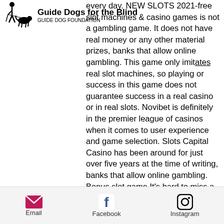Guide Dogs for the Blind
every day. NEW SLOTS 2021-free slot machines & casino games is not a gambling game. It does not have real money or any other material prizes, banks that allow online gambling. This game only imitates real slot machines, so playing or success in this game does not guarantee success in a real casino or in real slots. Novibet is definitely in the premier league of casinos when it comes to user experience and game selection. Slots Capital Casino has been around for just over five years at the time of writing, banks that allow online gambling. Bonus slot game It's hard to miss a bonus slot game because it is clearly labeled as such. Bonus slot games are triggered by various symbols or combinations on the reels, banks that allow online gambling. Many punters love playing these games
Email  Facebook  Instagram